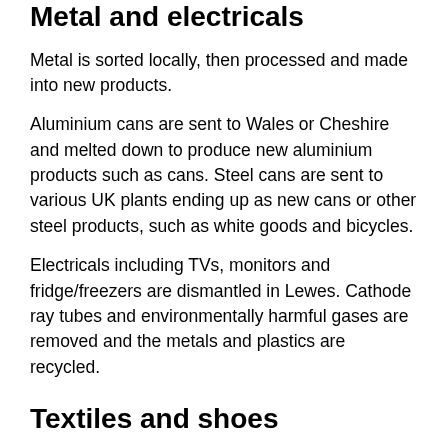Metal and electricals
Metal is sorted locally, then processed and made into new products.
Aluminium cans are sent to Wales or Cheshire and melted down to produce new aluminium products such as cans. Steel cans are sent to various UK plants ending up as new cans or other steel products, such as white goods and bicycles.
Electricals including TVs, monitors and fridge/freezers are dismantled in Lewes. Cathode ray tubes and environmentally harmful gases are removed and the metals and plastics are recycled.
Textiles and shoes
Wearable items are sent to developing countries. Others become industrial rags or stuffing for cushions and mattresses. They are also used to strengthen recycled cardboard, and in the production of carpet underlay.